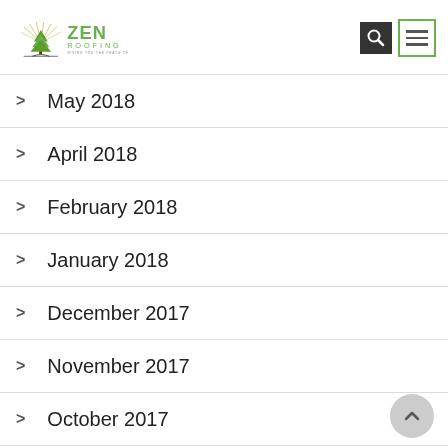Zen Roofing — Giving you the peace of mind
May 2018
April 2018
February 2018
January 2018
December 2017
November 2017
October 2017